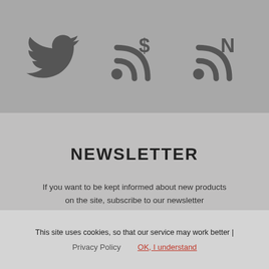[Figure (illustration): Three social/feed icons: Twitter bird icon, RSS feed with dollar sign, RSS feed with 'N' letter. All in dark grey on grey background.]
NEWSLETTER
If you want to be kept informed about new products on the site, subscribe to our newsletter
This site uses cookies, so that our service may work better | Privacy Policy  OK, I understand